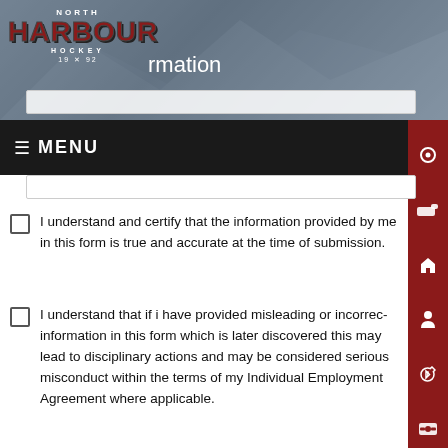[Figure (logo): North Harbour Hockey logo with red stylized text and mountain background]
rmation
≡ MENU
I understand and certify that the information provided by me in this form is true and accurate at the time of submission.
I understand that if i have provided misleading or incorrect information in this form which is later discovered this may lead to disciplinary actions and may be considered serious misconduct within the terms of my Individual Employment Agreement where applicable.